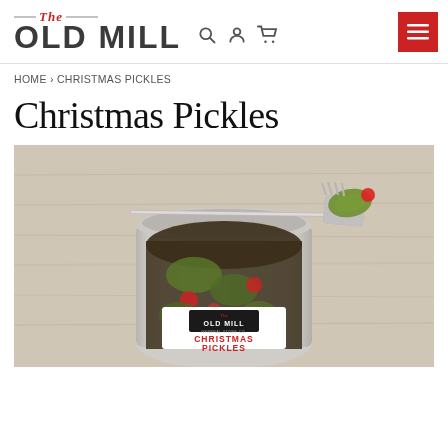The Old Mill — navigation header with logo, search, user, cart icons, and hamburger menu
HOME › CHRISTMAS PICKLES
Christmas Pickles
[Figure (photo): Open glass jar of Christmas Pickles from The Old Mill, with a fork holding a pickle slice resting across the top, showing red peppers and green pickles inside. The jar has a white label reading THE OLD MILL CHRISTMAS PICKLES.]